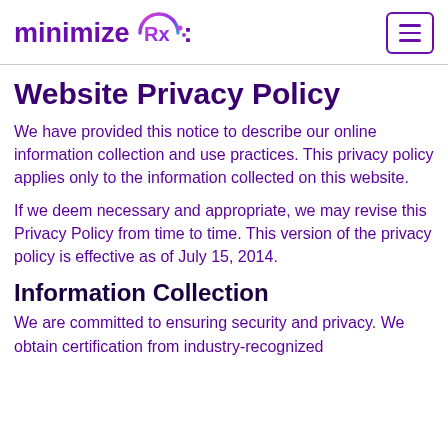minimizeRx
Website Privacy Policy
We have provided this notice to describe our online information collection and use practices. This privacy policy applies only to the information collected on this website.
If we deem necessary and appropriate, we may revise this Privacy Policy from time to time. This version of the privacy policy is effective as of July 15, 2014.
Information Collection
We are committed to ensuring security and privacy. We obtain certification from industry-recognized